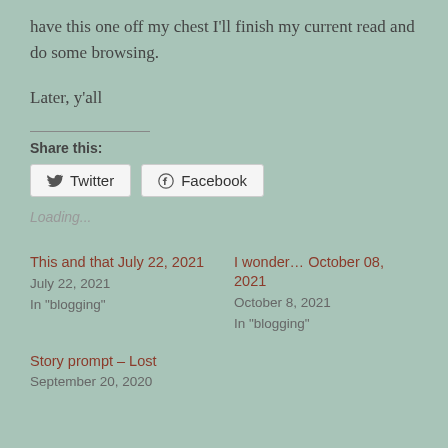have this one off my chest I'll finish my current read and do some browsing.
Later, y'all
Share this:
[Figure (other): Twitter and Facebook share buttons]
Loading...
This and that July 22, 2021
July 22, 2021
In "blogging"
I wonder… October 08, 2021
October 8, 2021
In "blogging"
Story prompt – Lost
September 20, 2020